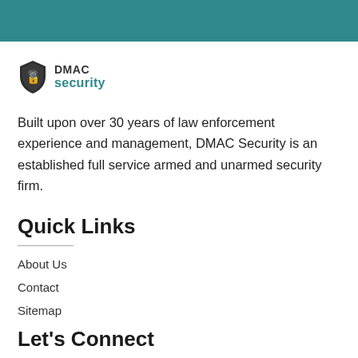[Figure (logo): DMAC Security logo with shield icon and teal 'security' text]
Built upon over 30 years of law enforcement experience and management, DMAC Security is an established full service armed and unarmed security firm.
Quick Links
About Us
Contact
Sitemap
Let's Connect